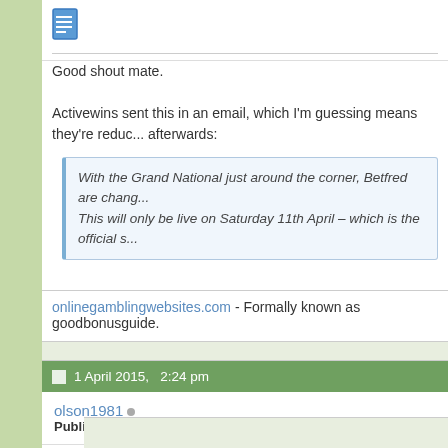[Figure (other): Document/file icon in blue]
Good shout mate.

Activewins sent this in an email, which I'm guessing means they're reduc... afterwards:
With the Grand National just around the corner, Betfred are chang... This will only be live on Saturday 11th April – which is the official s...
onlinegamblingwebsites.com - Formally known as goodbonusguide.
1 April 2015,   2:24 pm
olson1981
Public Member